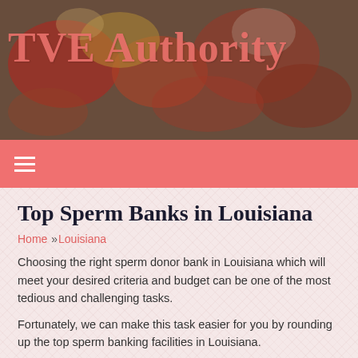[Figure (photo): Background photo of food/cooking scene with colorful dishes, used as website header banner]
TVE Authority
☰ (navigation menu icon)
Top Sperm Banks in Louisiana
Home » Louisiana
Choosing the right sperm donor bank in Louisiana which will meet your desired criteria and budget can be one of the most tedious and challenging tasks.
Fortunately, we can make this task easier for you by rounding up the top sperm banking facilities in Louisiana.